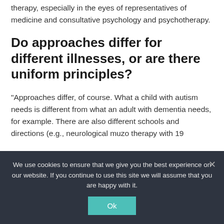therapy, especially in the eyes of representatives of medicine and consultative psychology and psychotherapy.
Do approaches differ for different illnesses, or are there uniform principles?
“Approaches differ, of course. What a child with autism needs is different from what an adult with dementia needs, for example. There are also different schools and directions (e.g., neurological muzo therapy with 19
We use cookies to ensure that we give you the best experience on our website. If you continue to use this site we will assume that you are happy with it.